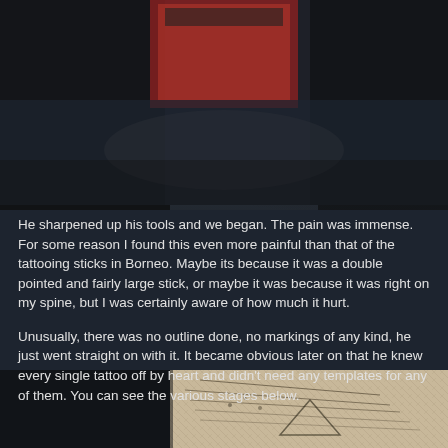[Figure (photo): Dark background photo showing a tattooing scene with tools and equipment, partially obscured, dark tones with a reddish element in the upper center]
He sharpened up his tools and we began. The pain was immense. For some reason I found this even more painful than that of the tattooing sticks in Borneo. Maybe its because it was a double pointed and fairly large stick, or maybe it was because it was right on my spine, but I was certainly aware of how much it hurt.
Unusually, there was no outline done, no markings of any kind, he just went straight on with it. It became obvious later on that he knew every single tattoo off by heart and didn't need any templates for any of them. You can see the various stages below.
[Figure (photo): Close-up photo of a tattoo being applied to skin, showing intricate black tattoo patterns including geometric and script designs on what appears to be a back or shoulder area]